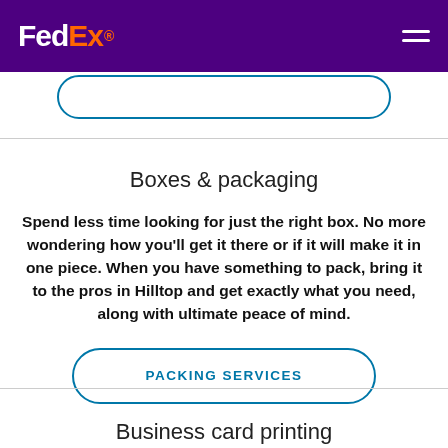FedEx.
Boxes & packaging
Spend less time looking for just the right box. No more wondering how you'll get it there or if it will make it in one piece. When you have something to pack, bring it to the pros in Hilltop and get exactly what you need, along with ultimate peace of mind.
PACKING SERVICES
Business card printing